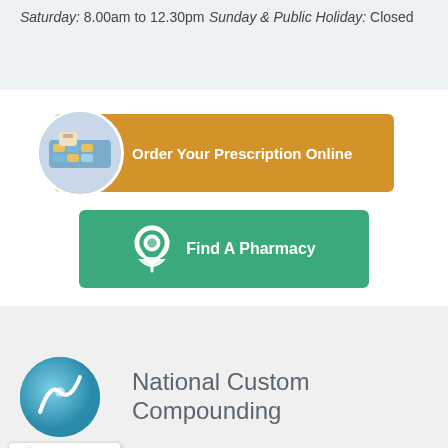Saturday: 8.00am to 12.30pm
Sunday & Public Holiday: Closed
[Figure (infographic): Orange button with circular pharmacy image on left reading 'Order Your Prescription Online']
[Figure (infographic): Green button with location pin icon reading 'Find A Pharmacy']
[Figure (logo): National Custom Compounding logo - circular blue/teal icon]
National Custom Compounding